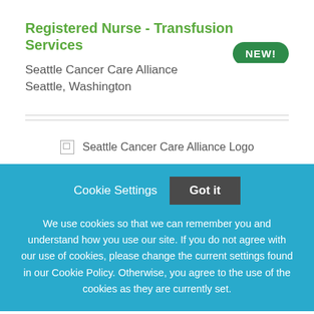Registered Nurse - Transfusion Services
Seattle Cancer Care Alliance
Seattle, Washington
[Figure (logo): Seattle Cancer Care Alliance Logo (broken image placeholder)]
Cookie Settings   Got it

We use cookies so that we can remember you and understand how you use our site. If you do not agree with our use of cookies, please change the current settings found in our Cookie Policy. Otherwise, you agree to the use of the cookies as they are currently set.